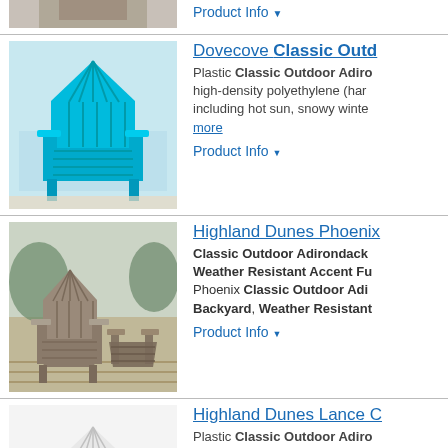[Figure (photo): Partial view of a chair product image at top]
Product Info ▼
[Figure (photo): Turquoise/teal Adirondack chair - Dovecove Classic Outdoor Adirondack Chair]
Dovecove Classic Outd...
Plastic Classic Outdoor Adiro... high-density polyethylene (har... including hot sun, snowy winte... more
Product Info ▼
[Figure (photo): Gray/taupe Adirondack chair set on deck - Highland Dunes Phoenix]
Highland Dunes Phoenix...
Classic Outdoor Adirondack... Weather Resistant Accent Fu... Phoenix Classic Outdoor Adi... Backyard, Weather Resistant...
Product Info ▼
[Figure (photo): White/light gray Adirondack chair - Highland Dunes Lance C...]
Highland Dunes Lance C...
Plastic Classic Outdoor Adiro... high-density polyethylene (har... including hot sun, snowy winte... more
Product Info ▼
[Figure (photo): Gray Adirondack chair by pool - Highland Dunes Lance C...]
Highland Dunes Lance C...
Plastic Classic Outdoor Adiro... high-density polyethylene (har... including hot sun, snowy winte... more